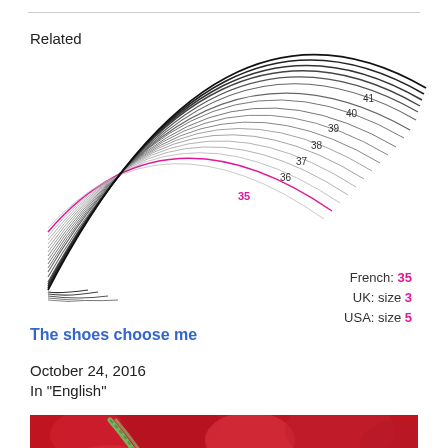Related
[Figure (illustration): Shoe size diagram showing curved sole outlines labeled 35 through 41, with size 35 highlighted in pink/magenta. Also shows size conversion: French: 35, UK: size 3, USA: size 5]
French: 35
UK: size 3
USA: size 5
The shoes choose me
October 24, 2016
In "English"
[Figure (photo): Red roses/petals with a green rope or cord, cropped at bottom of page]